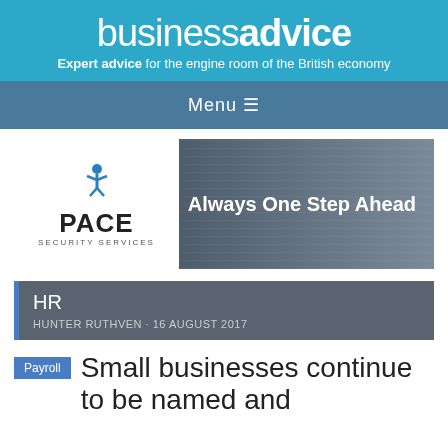business advice – Expert advice for the engine room of the British economy
Menu ☰
[Figure (logo): Pace Security Services advertisement banner. White logo box on left showing a blue star/person icon and 'PACE SECURITY SERVICES' text. Right side shows dark brownish-grey overlay on a building photo with text 'Always One Step Ahead' in white.]
HR
HUNTER RUTHVEN · 16 AUGUST 2017
Payroll   Small businesses continue to be named and